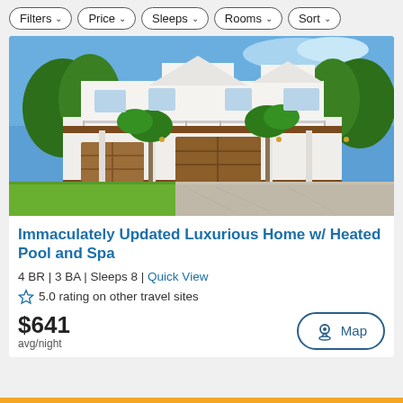Filters | Price | Sleeps | Rooms | Sort
[Figure (photo): Two-story white beach house with brown garage doors, balconies with railings, palm trees, and a gravel driveway on a sunny day.]
Immaculately Updated Luxurious Home w/ Heated Pool and Spa
4 BR | 3 BA | Sleeps 8 | Quick View
5.0 rating on other travel sites
$641 avg/night
Map